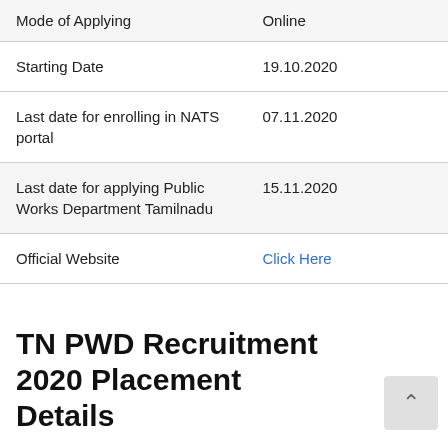|  |  |
| --- | --- |
| Mode of Applying | Online |
| Starting Date | 19.10.2020 |
| Last date for enrolling in NATS portal | 07.11.2020 |
| Last date for applying Public Works Department Tamilnadu | 15.11.2020 |
| Official Website | Click Here |
TN PWD Recruitment 2020 Placement Details